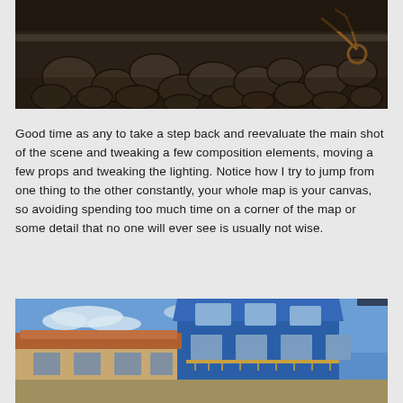[Figure (photo): Dark overhead view of cobblestone pavement with a bicycle leaning against a wall or railing, shot from above in moody, dark tones.]
Good time as any to take a step back and reevaluate the main shot of the scene and tweaking a few composition elements, moving a few props and tweaking the lighting. Notice how I try to jump from one thing to the other constantly, your whole map is your canvas, so avoiding spending too much time on a corner of the map or some detail that no one will ever see is usually not wise.
[Figure (photo): Photograph of a colorful European-style building with a bright blue facade, orange/terracotta roof tiles, balconies with railings, shot against a blue sky with light clouds.]